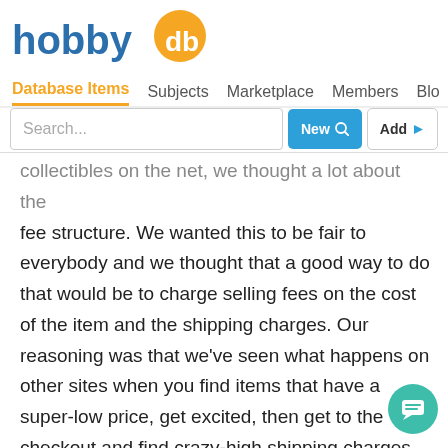[Figure (logo): hobbydb logo — blue text 'hobby' with orange circle containing 'db' letters]
Database Items  Subjects  Marketplace  Members  Blo...
Search...
collectibles on the net, we thought a lot about the fee structure. We wanted this to be fair to everybody and we thought that a good way to do that would be to charge selling fees on the cost of the item and the shipping charges. Our reasoning was that we've seen what happens on other sites when you find items that have a super-low price, get excited, then get to the checkout and find crazy-high shipping charges. (Because the wily seller knows they will only be getting charged the fee on the selling price, so they keep that low and